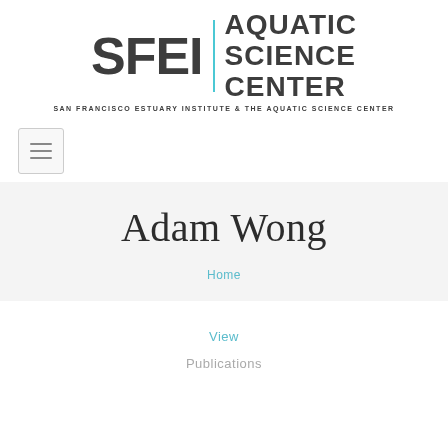[Figure (logo): SFEI Aquatic Science Center logo — San Francisco Estuary Institute & The Aquatic Science Center]
[Figure (other): Navigation hamburger menu icon — three horizontal lines in a bordered box]
Adam Wong
Home
View
Publications